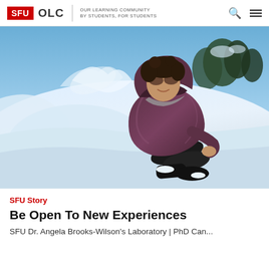SFU OLC | OUR LEARNING COMMUNITY BY STUDENTS, FOR STUDENTS
[Figure (photo): A woman in a dark purple puffer jacket and sunglasses sits in deep snow on a mountain, smiling at the camera. Snow-covered trees are visible in the background against a clear blue sky.]
SFU Story
Be Open To New Experiences
SFU Dr. Angela Brooks-Wilson's Laboratory | PhD Can...